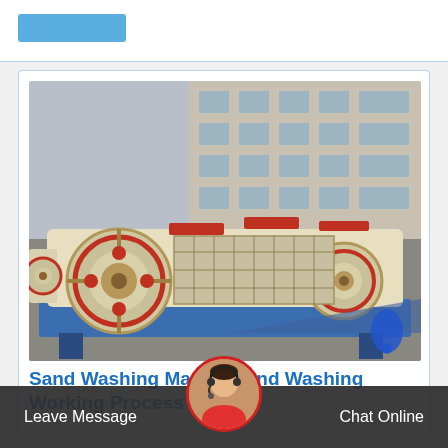[Figure (photo): Top white header bar with a blue button on the left]
[Figure (photo): Industrial sand washing machine with cream and red colored rollers, blue base frame, photographed outdoors with a building in the background]
Sand Washing Machine and Washing Working Process
Leave Message   Chat Online